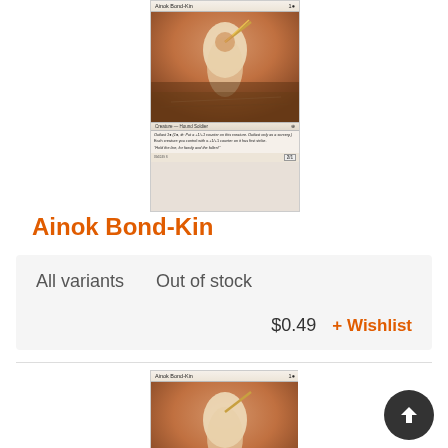[Figure (illustration): Magic: The Gathering card 'Ainok Bond-Kin' showing a creature - Hound Soldier with art of a warrior figure. Top card image.]
Ainok Bond-Kin
All variants    Out of stock
$0.49   + Wishlist
[Figure (illustration): Magic: The Gathering card 'Ainok Bond-Kin' showing a creature - Hound Soldier. Bottom card image, partially visible.]